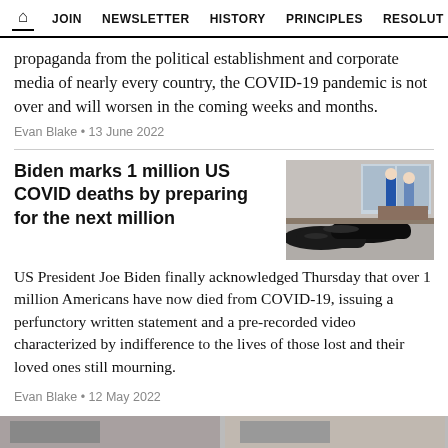HOME  JOIN  NEWSLETTER  HISTORY  PRINCIPLES  RESOLUT
propaganda from the political establishment and corporate media of nearly every country, the COVID-19 pandemic is not over and will worsen in the coming weeks and months.
Evan Blake • 13 June 2022
Biden marks 1 million US COVID deaths by preparing for the next million
[Figure (photo): Hospital morgue scene with body bags and medical workers in background]
US President Joe Biden finally acknowledged Thursday that over 1 million Americans have now died from COVID-19, issuing a perfunctory written statement and a pre-recorded video characterized by indifference to the lives of those lost and their loved ones still mourning.
Evan Blake • 12 May 2022
[Figure (photo): Partial image at bottom of page]